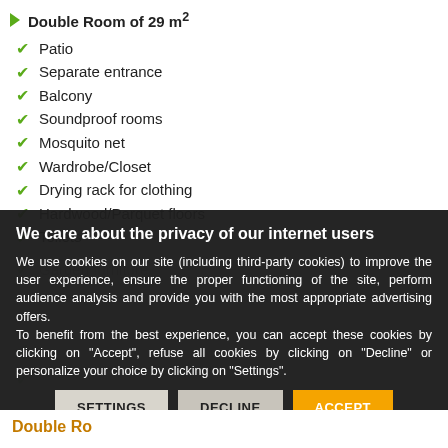Double Room of 29 m²
Patio
Separate entrance
Balcony
Soundproof rooms
Mosquito net
Wardrobe/Closet
Drying rack for clothing
Hardwood/Parquet floors
Toilets
Toilet paper
We care about the privacy of our internet users
We use cookies on our site (including third-party cookies) to improve the user experience, ensure the proper functioning of the site, perform audience analysis and provide you with the most appropriate advertising offers.
To benefit from the best experience, you can accept these cookies by clicking on "Accept", refuse all cookies by clicking on "Decline" or personalize your choice by clicking on "Settings".
SETTINGS   DECLINE   ACCEPT
Double Ro...